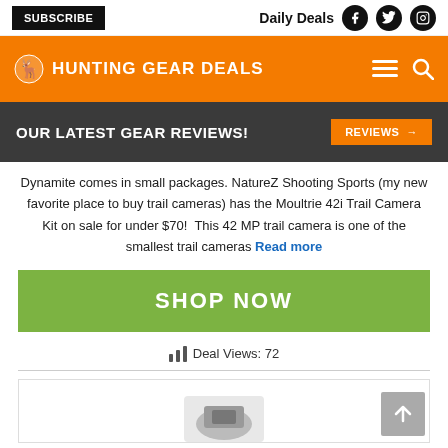SUBSCRIBE | Daily Deals
HUNTING GEAR DEALS
OUR LATEST GEAR REVIEWS!
Dynamite comes in small packages. NatureZ Shooting Sports (my new favorite place to buy trail cameras) has the Moultrie 42i Trail Camera Kit on sale for under $70! This 42 MP trail camera is one of the smallest trail cameras Read more
SHOP NOW
Deal Views: 72
[Figure (other): Bottom card area showing partial product image]